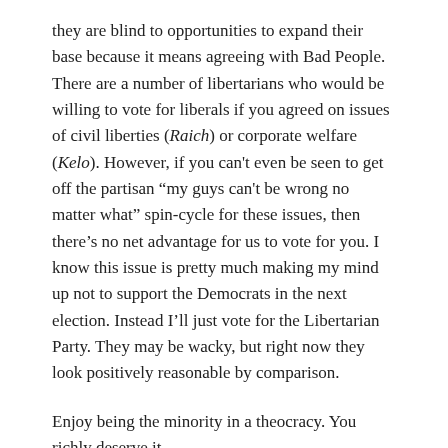they are blind to opportunities to expand their base because it means agreeing with Bad People. There are a number of libertarians who would be willing to vote for liberals if you agreed on issues of civil liberties (Raich) or corporate welfare (Kelo). However, if you can't even be seen to get off the partisan “my guys can't be wrong no matter what” spin-cycle for these issues, then there’s no net advantage for us to vote for you. I know this issue is pretty much making my mind up not to support the Democrats in the next election. Instead I’ll just vote for the Libertarian Party. They may be wacky, but right now they look positively reasonable by comparison.
Enjoy being the minority in a theocracy. You richly deserve it.